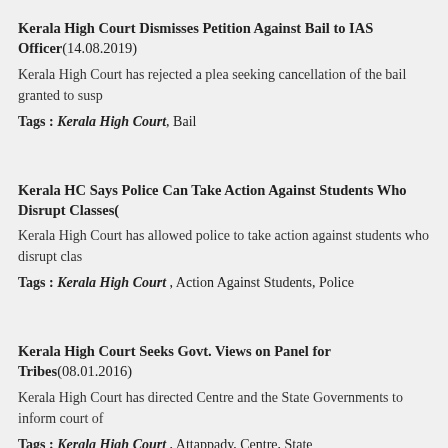Kerala High Court Dismisses Petition Against Bail to IAS Officer(14.08.2019)
Kerala High Court has rejected a plea seeking cancellation of the bail granted to susp
Tags : Kerala High Court, Bail
Kerala HC Says Police Can Take Action Against Students Who Disrupt Classes(
Kerala High Court has allowed police to take action against students who disrupt clas
Tags : Kerala High Court , Action Against Students, Police
Kerala High Court Seeks Govt. Views on Panel for Tribes(08.01.2016)
Kerala High Court has directed Centre and the State Governments to inform court of
Tags : Kerala High Court , Attappady, Centre, State
Kerala High Court Directs KSRTC to Reinstate Conductor who Criticised CM(